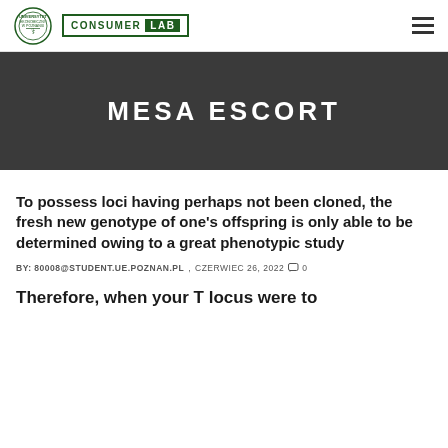UNIVERSYTET EKONOMICZNY W POZNANIU | CONSUMER LAB
MESA ESCORT
To possess loci having perhaps not been cloned, the fresh new genotype of one's offspring is only able to be determined owing to a great phenotypic study
BY: 80008@STUDENT.UE.POZNAN.PL , CZERWIEC 26, 2022  0
Therefore, when your T locus were to